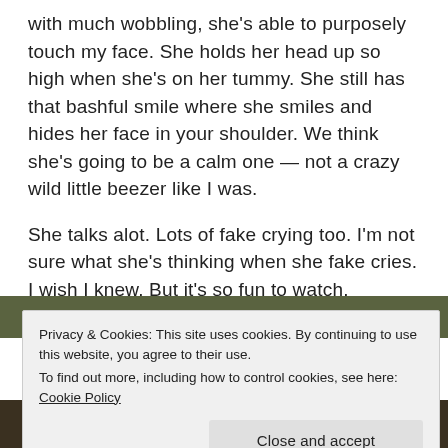with much wobbling, she's able to purposely touch my face.  She holds her head up so high when she's on her tummy.  She still has that bashful smile where she smiles and hides her face in your shoulder.  We think she's going to be a calm one — not a crazy wild little beezer like I was.
She talks alot.  Lots of fake crying too.  I'm not sure what she's thinking when she fake cries.  I wish I knew.  But it's so fun to watch, because it sounds like she's complaining about something.
[Figure (photo): Partial view of a photo strip visible behind the cookie banner]
Privacy & Cookies: This site uses cookies. By continuing to use this website, you agree to their use.
To find out more, including how to control cookies, see here: Cookie Policy